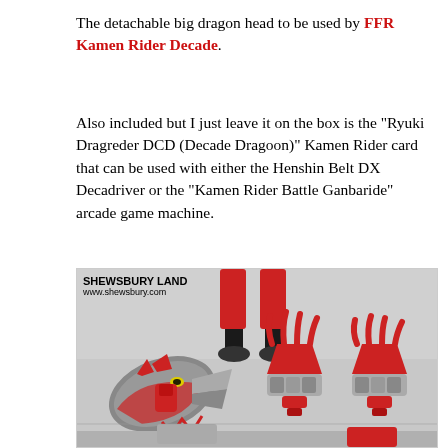The detachable big dragon head to be used by FFR Kamen Rider Decade.
Also included but I just leave it on the box is the "Ryuki Dragreder DCD (Decade Dragoon)" Kamen Rider card that can be used with either the Henshin Belt DX Decadriver or the "Kamen Rider Battle Ganbaride" arcade game machine.
[Figure (photo): Photo of Kamen Rider toy accessories including a red and silver dragon head and claw pieces laid on a surface. A figure's legs are visible in the background. Watermark: SHEWSBURY LAND, www.shewsbury.com]